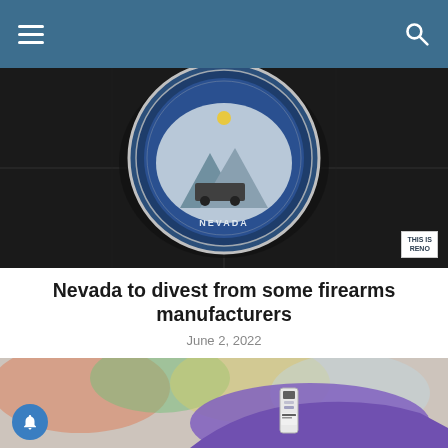[Figure (photo): Nevada state seal mounted on a dark marble/granite wall, viewed from above. The circular seal shows the Great Seal of Nevada with blue and silver tones. A 'THIS IS RENO' watermark badge appears in the bottom-right corner.]
Nevada to divest from some firearms manufacturers
June 2, 2022
[Figure (photo): Close-up photo of a gloved hand (purple latex glove) holding a medical vial or syringe. Colorful blurred background suggesting a medical or pharmacy setting.]